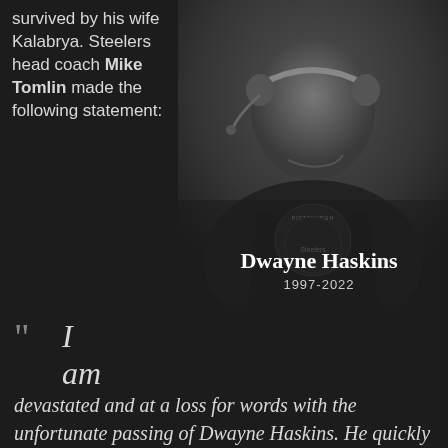survived by his wife Kalabrya. Steelers head coach Mike Tomlin made the following statement:
[Figure (photo): Black and white photo of Dwayne Haskins wearing Pittsburgh Steelers gear with headset, with his name and years 1997-2022 displayed as a memorial tribute]
" I am devastated and at a loss for words with the unfortunate passing of Dwayne Haskins. He quickly became part of our Steelers family upon his arrival in Pittsburgh and was one of our hardest workers, both on the field and in our community. Dwayne was a great